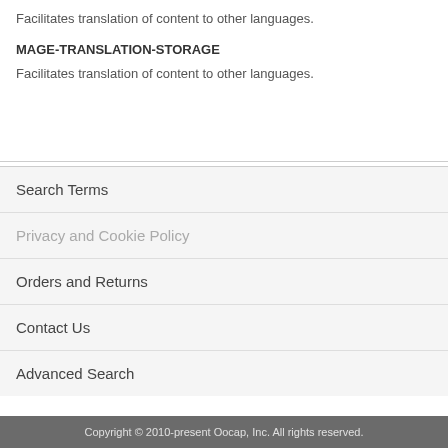Facilitates translation of content to other languages.
MAGE-TRANSLATION-STORAGE
Facilitates translation of content to other languages.
Search Terms
Privacy and Cookie Policy
Orders and Returns
Contact Us
Advanced Search
Copyright © 2010-present Oocap, Inc. All rights reserved.